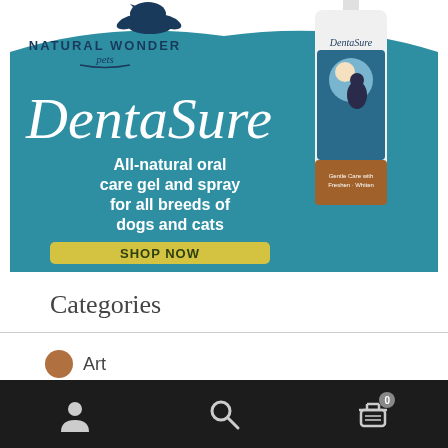[Figure (illustration): Natural Wonder Pets logo with stylized bird/cat silhouette above the text 'NATURAL WONDER pets']
[Figure (photo): DentaSure product bottle - white spray bottle with blue label showing a dog/cat silhouette under a moon, labeled 'DentaSure All-Natural Foam for Dogs & Cats']
DentaSure
All-natural oral care gel and spray for all breeds of dogs and cats
SHOP NOW
Categories
Art